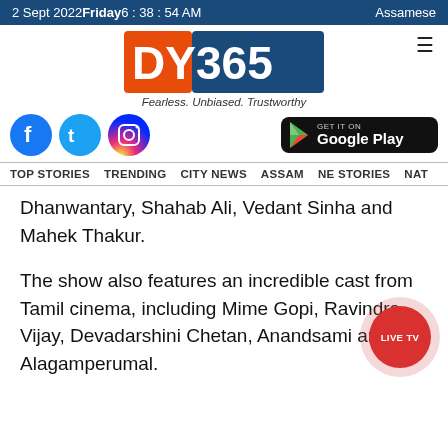2 Sept 2022  Friday  6 : 38 : 54 AM    Assamese
[Figure (logo): DY365 logo with tagline: Fearless. Unbiased. Trustworthy]
[Figure (infographic): Social media icons (Facebook, Twitter, Instagram) and Google Play store button]
TOP STORIES   TRENDING   CITY NEWS   ASSAM   NE STORIES   NAT
Dhanwantary, Shahab Ali, Vedant Sinha and Mahek Thakur.
The show also features an incredible cast from Tamil cinema, including Mime Gopi, Ravindra Vijay, Devadarshini Chetan, Anandsami and N. Alagamperumal.